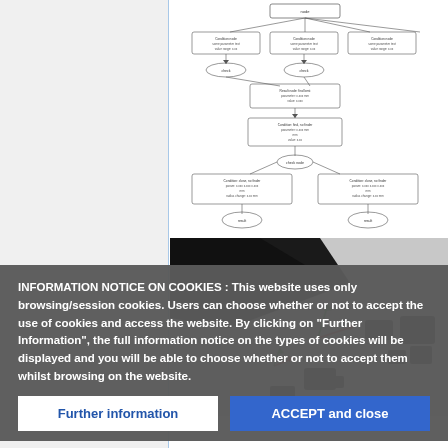[Figure (flowchart): A flowchart/decision tree diagram with multiple nodes and branches, showing conditions and outcomes. Small text in boxes connected by lines and arrows.]
[Figure (photo): A grayscale photograph showing a surface or terrain with black irregular shapes (possibly obstacles or objects) and two colored axis markers (red and green lines indicating coordinate frames) in the center, with a circle overlaid. Appears to be a top-down camera view used in robotics or navigation.]
INFORMATION NOTICE ON COOKIES : This website uses only browsing/session cookies. Users can choose whether or not to accept the use of cookies and access the website. By clicking on "Further Information", the full information notice on the types of cookies will be displayed and you will be able to choose whether or not to accept them whilst browsing on the website.
Further information
ACCEPT and close